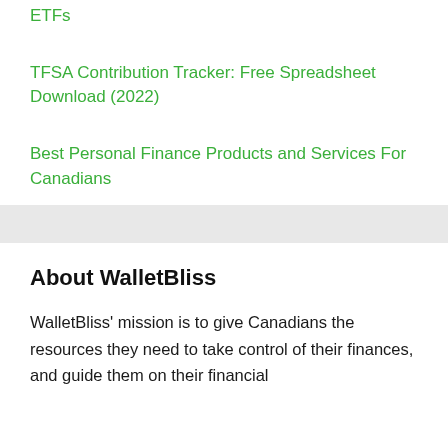ETFs
TFSA Contribution Tracker: Free Spreadsheet Download (2022)
Best Personal Finance Products and Services For Canadians
About WalletBliss
WalletBliss' mission is to give Canadians the resources they need to take control of their finances, and guide them on their financial